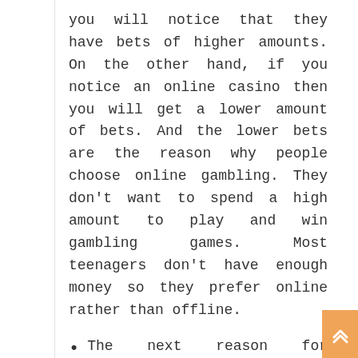you will notice that they have bets of higher amounts. On the other hand, if you notice an online casino then you will get a lower amount of bets. And the lower bets are the reason why people choose online gambling. They don't want to spend a high amount to play and win gambling games. Most teenagers don't have enough money so they prefer online rather than offline.
The next reason for preferring gambling is that players get higher bonus offers with the site. Whenever you sign up with any gambling site you will get different kinds of bonus offers